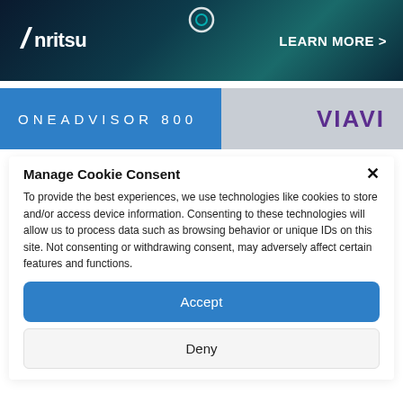[Figure (illustration): Anritsu banner advertisement with dark teal background, Anritsu logo on left, 'LEARN MORE >' text on right, circular icon at top center]
[Figure (illustration): ONEADVISOR 800 banner with blue gradient left side showing product name and VIAVI logo on grey right side]
Manage Cookie Consent
To provide the best experiences, we use technologies like cookies to store and/or access device information. Consenting to these technologies will allow us to process data such as browsing behavior or unique IDs on this site. Not consenting or withdrawing consent, may adversely affect certain features and functions.
Accept
Deny